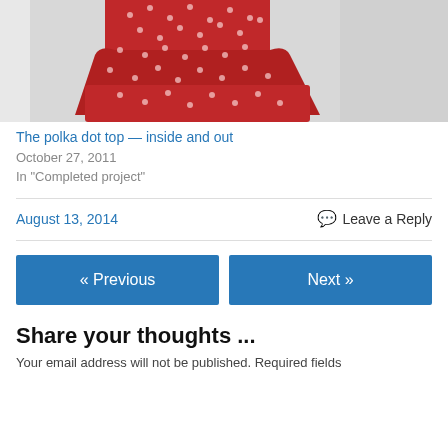[Figure (photo): Red polka dot dress/top on a person, cropped at torso, shown against a white door background]
The polka dot top — inside and out
October 27, 2011
In "Completed project"
August 13, 2014
Leave a Reply
« Previous
Next »
Share your thoughts ...
Your email address will not be published. Required fields